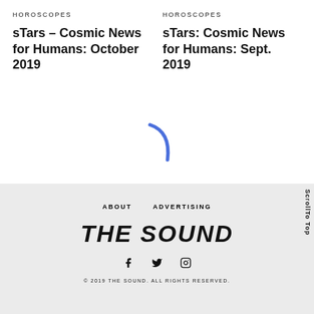HOROSCOPES
sTars – Cosmic News for Humans: October 2019
HOROSCOPES
sTars: Cosmic News for Humans: Sept. 2019
[Figure (other): Blue arc/loading spinner curve]
ABOUT   ADVERTISING
THE SOUND
© 2019 THE SOUND. ALL RIGHTS RESERVED.